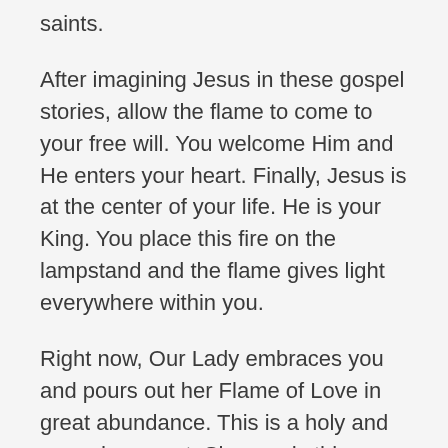saints.
After imagining Jesus in these gospel stories, allow the flame to come to your free will. You welcome Him and He enters your heart. Finally, Jesus is at the center of your life. He is your King. You place this fire on the lampstand and the flame gives light everywhere within you.
Right now, Our Lady embraces you and pours out her Flame of Love in great abundance. This is a holy and sacred moment. She sends this flame into your heart. The Flame leaps out of her heart because it causes Our Lady too much pain. She gives the fire far beyond your capacity to receive. She gives gifts that were meant